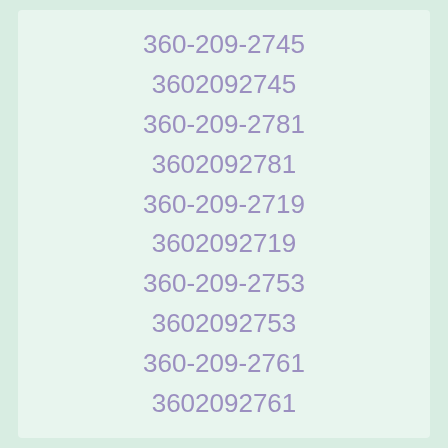360-209-2745
3602092745
360-209-2781
3602092781
360-209-2719
3602092719
360-209-2753
3602092753
360-209-2761
3602092761